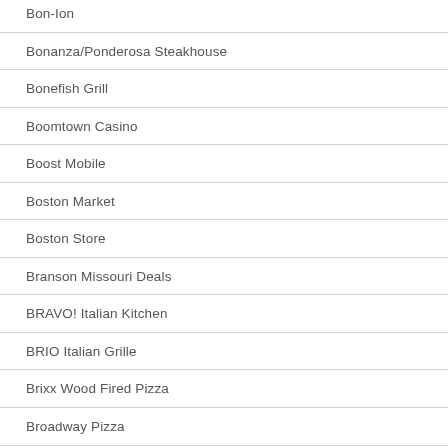Bon-Ion
Bonanza/Ponderosa Steakhouse
Bonefish Grill
Boomtown Casino
Boost Mobile
Boston Market
Boston Store
Branson Missouri Deals
BRAVO! Italian Kitchen
BRIO Italian Grille
Brixx Wood Fired Pizza
Broadway Pizza
Bruegger's Bagels
Buca di Beppo